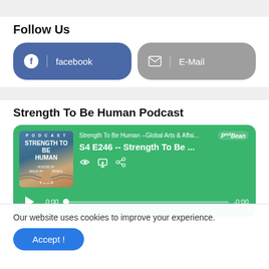Follow Us
[Figure (other): Facebook follow button (blue rounded rectangle with Facebook icon and text 'facebook')]
[Figure (other): E-Mail follow button (gray rounded rectangle with envelope icon and text 'E-Mail')]
Strength To Be Human Podcast
[Figure (other): Podcast player widget showing 'Strength To Be Human --Global Arts & Affai...' with episode 'S4 E246 -- Strength To Be ...' on a green background, with play button, progress bar, and time 0:00 / -0:00]
Our website uses cookies to improve your experience.
Accept !